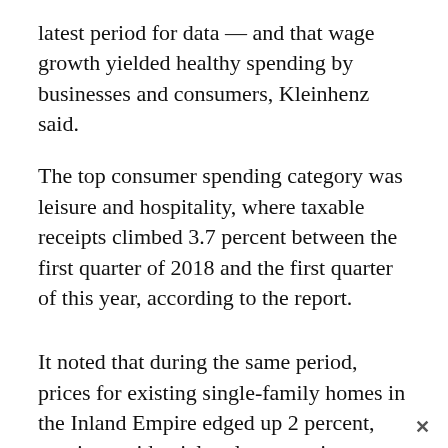latest period for data — and that wage growth yielded healthy spending by businesses and consumers, Kleinhenz said.
The top consumer spending category was leisure and hospitality, where taxable receipts climbed 3.7 percent between the first quarter of 2018 and the first quarter of this year, according to the report.
It noted that during the same period, prices for existing single-family homes in the Inland Empire edged up 2 percent, topping residential real estate price expansion in Los Angeles, Orange, and San Diego counties.